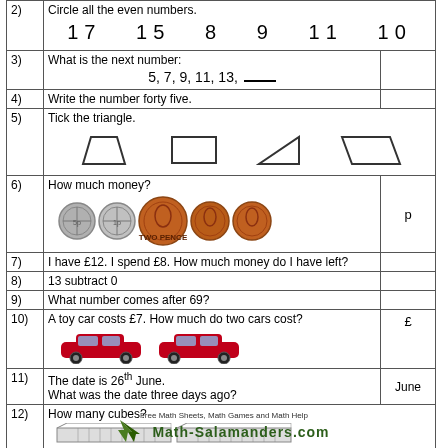2) Circle all the even numbers. 17 15 8 9 11 10
3) What is the next number: 5, 7, 9, 11, 13, ___
4) Write the number forty five.
5) Tick the triangle. [trapezoid, rectangle, right triangle, parallelogram]
6) How much money? [5 coins shown] p
7) I have £12. I spend £8. How much money do I have left?
8) 13 subtract 0
9) What number comes after 69?
10) A toy car costs £7. How much do two cars cost? £
11) The date is 26th June. What was the date three days ago? June
12) How many cubes?
Free Math Sheets, Math Games and Math Help math-salamanders.com